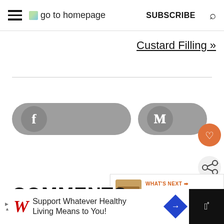≡ go to homepage  SUBSCRIBE  🔍
Custard Filling »
[Figure (infographic): Facebook share button (rounded pill, grey) and Pinterest share button (rounded pill, grey)]
[Figure (infographic): Heart/favorite button (orange circle) and share button (light grey circle with share icon)]
[Figure (infographic): What's Next panel showing Korean Bulgogi... with food thumbnail]
COMMENTS
[Figure (infographic): Advertisement bar: Walgreens 'Support Whatever Healthy Living Means to You!' ad with logo, navigation arrow icon, and right-side logo]